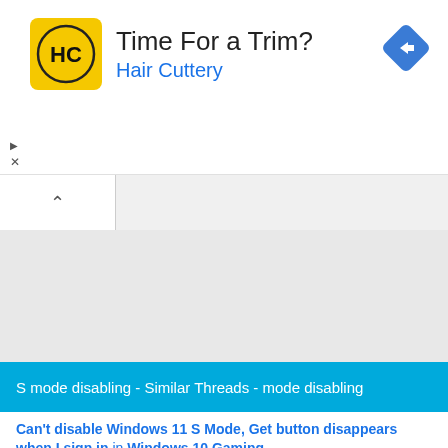[Figure (advertisement): Hair Cuttery advertisement banner with yellow square logo showing HC initials, title 'Time For a Trim?', subtitle 'Hair Cuttery', and blue diamond navigation icon in top right.]
S mode disabling - Similar Threads - mode disabling
Can't disable Windows 11 S Mode, Get button disappears when I sign in in Windows 10 Gaming
Can't disable Windows 11 S Mode, Get button disappears when I sign in: Hi, like the subject line says, I can't disable Windows 11 S Mode. I've tried the normal steps but the store page doesn't show a Get button at all, unless I sign out. Unfortunately this